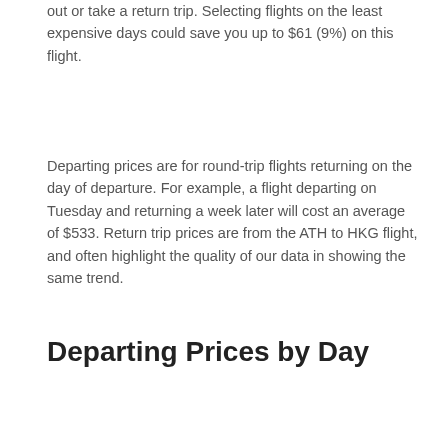out or take a return trip. Selecting flights on the least expensive days could save you up to $61 (9%) on this flight.
Departing prices are for round-trip flights returning on the day of departure. For example, a flight departing on Tuesday and returning a week later will cost an average of $533. Return trip prices are from the ATH to HKG flight, and often highlight the quality of our data in showing the same trend.
Departing Prices by Day